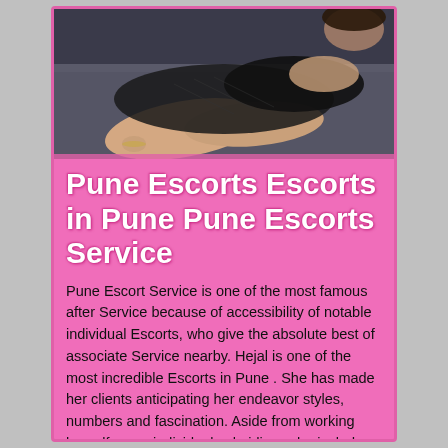[Figure (photo): A woman in a black lace outfit posing on a dark sofa/couch, legs visible, photographed from the side.]
Pune Escorts Escorts in Pune Pune Escorts Service
Pune Escort Service is one of the most famous after Service because of accessibility of notable individual Escorts, who give the absolute best of associate Service nearby. Hejal is one of the most incredible Escorts in Pune . She has made her clients anticipating her endeavor styles, numbers and fascination. Aside from working herself as an individual subsidiary, she includes her own Pune Escorts Service . Under this organization, he makes accessible different sorts of Escorts to the different cl